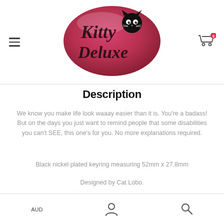[Figure (logo): Kitty Deluxe logo: pink oval with black cat silhouette, script text 'Kitty Deluxe']
Description
We know you make life look waaay easier than it is. You're a badass! But on the days you just want to remind people that some disabilities you can't SEE, this one's for you. No more explanations required.
Black nickel plated keyring measuring 52mm x 27.8mm
Designed by Cat Lobo.
AUD | Account icon | Search icon